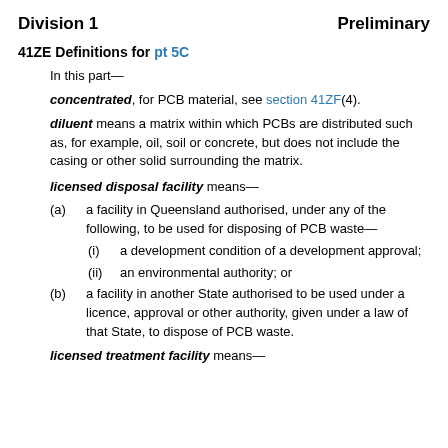Division 1    Preliminary
41ZE Definitions for pt 5C
In this part—
concentrated, for PCB material, see section 41ZF(4).
diluent means a matrix within which PCBs are distributed such as, for example, oil, soil or concrete, but does not include the casing or other solid surrounding the matrix.
licensed disposal facility means—
(a) a facility in Queensland authorised, under any of the following, to be used for disposing of PCB waste—
(i) a development condition of a development approval;
(ii) an environmental authority; or
(b) a facility in another State authorised to be used under a licence, approval or other authority, given under a law of that State, to dispose of PCB waste.
licensed treatment facility means—